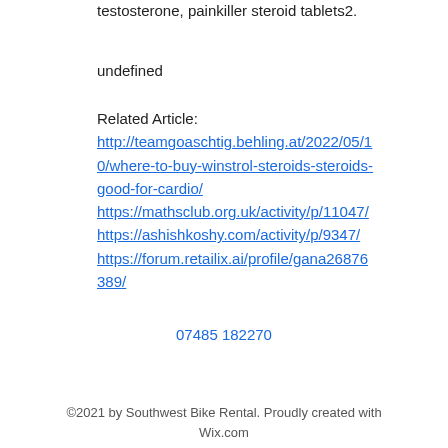testosterone, painkiller steroid tablets2.
undefined
Related Article:
http://teamgoaschtig.behling.at/2022/05/10/where-to-buy-winstrol-steroids-steroids-good-for-cardio/
https://mathsclub.org.uk/activity/p/11047/
https://ashishkoshy.com/activity/p/9347/
https://forum.retailix.ai/profile/gana26876389/
07485 182270
©2021 by Southwest Bike Rental. Proudly created with Wix.com